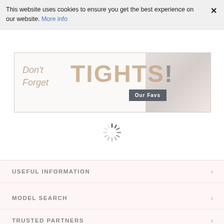This website uses cookies to ensure you get the best experience on our website. More info ×
[Figure (illustration): Advertisement banner for tights: text reads 'Don't Forget TIGHTS!' with an 'Our Favs' button and a photo of legs in tights on the right side.]
[Figure (other): Loading spinner graphic — spinning dashed circle icon]
USEFUL INFORMATION >
MODEL SEARCH >
TRUSTED PARTNERS >